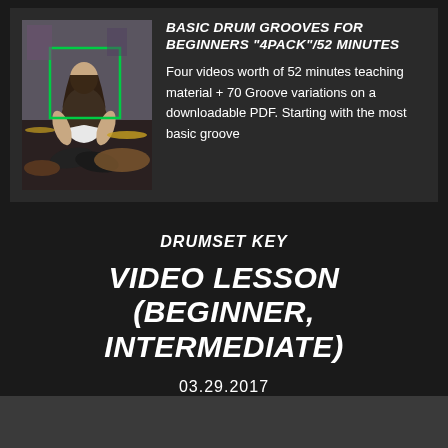[Figure (photo): Person sitting cross-legged playing drums in a studio setting, with a green rectangle overlay on the upper portion of the image]
BASIC DRUM GROOVES FOR BEGINNERS "4PACK"/52 MINUTES
Four videos worth of 52 minutes teaching material + 70 Groove variations on a downloadable PDF. Starting with the most basic groove
DRUMSET KEY
VIDEO LESSON (BEGINNER, INTERMEDIATE)
03.29.2017